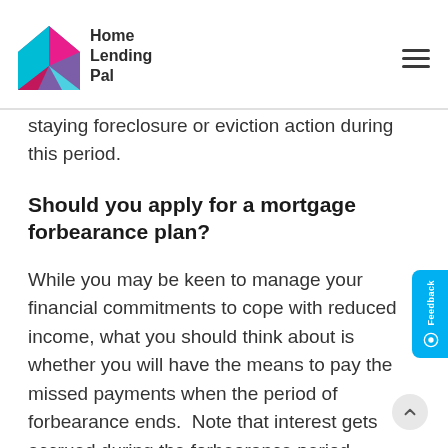Home Lending Pal
staying foreclosure or eviction action during this period.
Should you apply for a mortgage forbearance plan?
While you may be keen to manage your financial commitments to cope with reduced income, what you should think about is whether you will have the means to pay the missed payments when the period of forbearance ends.  Note that interest gets accrued during the forbearance period.  Similarly, the longer you stretch out the